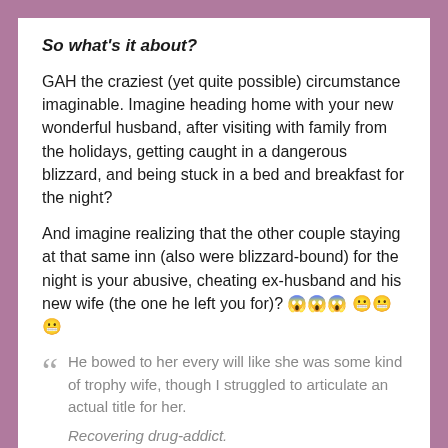So what's it about?
GAH the craziest (yet quite possible) circumstance imaginable. Imagine heading home with your new wonderful husband, after visiting with family from the holidays, getting caught in a dangerous blizzard, and being stuck in a bed and breakfast for the night?
And imagine realizing that the other couple staying at that same inn (also were blizzard-bound) for the night is your abusive, cheating ex-husband and his new wife (the one he left you for)? 😱😱😱 😬😬😬
"He bowed to her every will like she was some kind of trophy wife, though I struggled to articulate an actual title for her.
Recovering drug-addict.
Active alcoholic.
Rooting, bitchfaced adulterer.